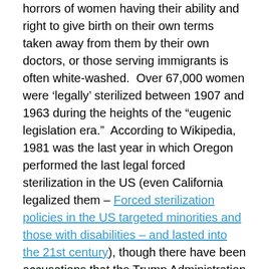horrors of women having their ability and right to give birth on their own terms taken away from them by their own doctors, or those serving immigrants is often white-washed.  Over 67,000 women were ‘legally’ sterilized between 1907 and 1963 during the heights of the “eugenic legislation era.”  According to Wikipedia, 1981 was the last year in which Oregon performed the last legal forced sterilization in the US (even California legalized them – Forced sterilization policies in the US targeted minorities and those with disabilities – and lasted into the 21st century), though there have been accusations that the Trump Administration may have allowed doctors in the ICE refugee camps at our border, or the doctors just did it without letting their patients know, without permission, while under anesthesia for other health procedures (Immigration Detention and Coerced Sterilization: History Tragically Repeats Itself | News & Commentary | American